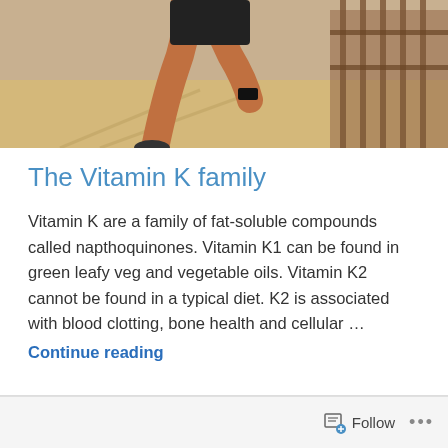[Figure (photo): A runner's legs mid-stride on a sunny outdoor path next to a metal railing fence]
The Vitamin K family
Vitamin K are a family of fat-soluble compounds called napthoquinones. Vitamin K1 can be found in green leafy veg and vegetable oils. Vitamin K2 cannot be found in a typical diet. K2 is associated with blood clotting, bone health and cellular …
Continue reading
Follow ...